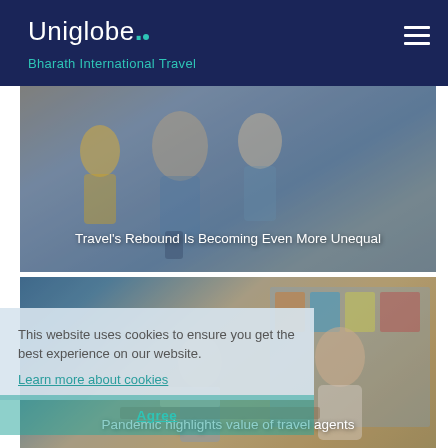Uniglobe. Bharath International Travel
[Figure (photo): Photo of a person with a mask and luggage at an airport or travel hub, with overlay text about travel rebound]
Travel's Rebound Is Becoming Even More Unequal
This website uses cookies to ensure you get the best experience on our website. Learn more about cookies
Agree
[Figure (photo): Photo of travel agents helping a customer at a travel agency]
Pandemic highlights value of travel agents